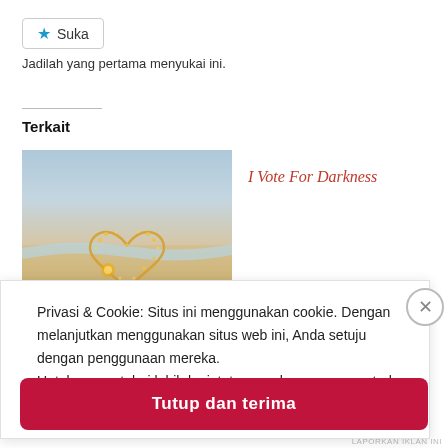[Figure (other): Like/Suka button with blue star icon]
Jadilah yang pertama menyukai ini.
Terkait
[Figure (photo): Photo of a heart shape made from fairy lights on a sandy beach with ocean in the background]
I Vote For Darkness
Privasi & Cookie: Situs ini menggunakan cookie. Dengan melanjutkan menggunakan situs web ini, Anda setuju dengan penggunaan mereka.
Untuk mengetahui lebih lanjut, termasuk cara mengontrol cookie, lihat di sini: Kebijakan Cookie
Tutup dan terima